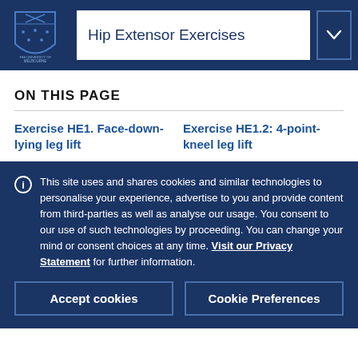Hip Extensor Exercises
ON THIS PAGE
Exercise HE1. Face-down-lying leg lift
Exercise HE1.2: 4-point-kneel leg lift
This site uses and shares cookies and similar technologies to personalise your experience, advertise to you and provide content from third-parties as well as analyse our usage. You consent to our use of such technologies by proceeding. You can change your mind or consent choices at any time. Visit our Privacy Statement for further information.
Accept cookies
Cookie Preferences